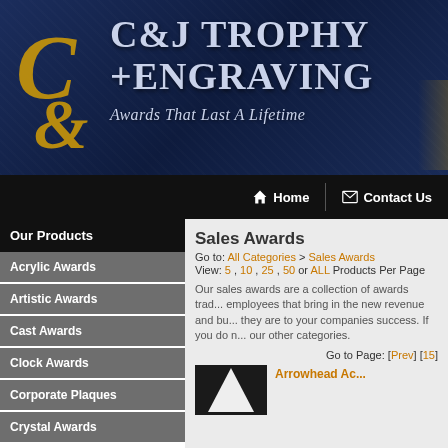[Figure (logo): C&J Trophy + Engraving website header banner with gold ornamental ampersand logo on dark navy blue textured background, with text 'C&J TROPHY +ENGRAVING' and tagline 'Awards That Last A Lifetime']
Home | Contact Us
Our Products
Acrylic Awards
Artistic Awards
Cast Awards
Clock Awards
Corporate Plaques
Crystal Awards
Sales Awards
Go to: All Categories > Sales Awards
View: 5 , 10 , 25 , 50 or ALL Products Per Page
Our sales awards are a collection of awards traditionally given to employees that bring in the new revenue and bu... they are to your companies success. If you do no... our other categories.
Go to Page: [Prev] [15]
Arrowhead Ac...